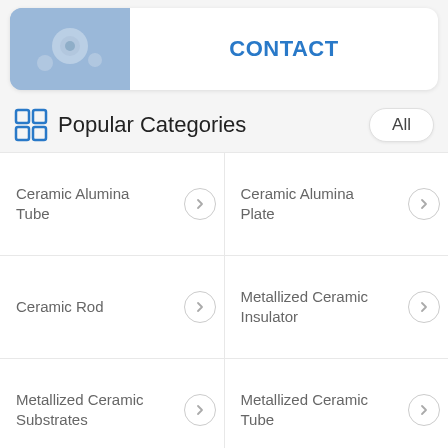[Figure (photo): Partial view of a product image (ceramic/metallic components on blue background) with CONTACT label]
CONTACT
Popular Categories
Ceramic Alumina Tube
Ceramic Alumina Plate
Ceramic Rod
Metallized Ceramic Insulator
Metallized Ceramic Substrates
Metallized Ceramic Tube
Ceramic Pepper Mill Mechanism
Ceramic Grinder